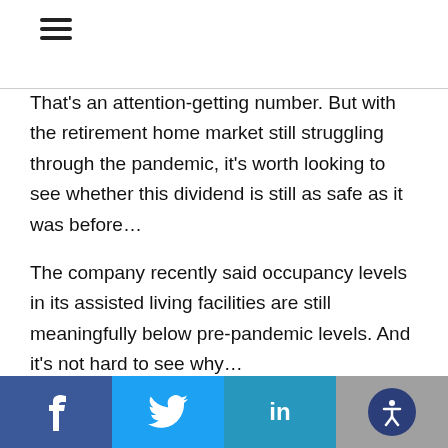[Figure (other): Hamburger menu icon (three horizontal lines)]
That's an attention-getting number. But with the retirement home market still struggling through the pandemic, it's worth looking to see whether this dividend is still as safe as it was before…
The company recently said occupancy levels in its assisted living facilities are still meaningfully below pre-pandemic levels. And it's not hard to see why…
As of March 2021, nearly 1 in 12 long-term care residents died from COVID-19. For nursing homes alone, 1 in 10 residents lost their lives to COVID-19.
Facebook | Twitter | LinkedIn | Accessibility